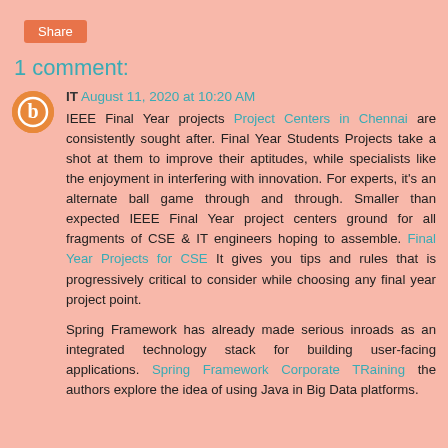[Figure (other): Orange 'Share' button in top-left area]
1 comment:
[Figure (other): Orange circular avatar icon with blogger 'B' symbol]
IT August 11, 2020 at 10:20 AM
IEEE Final Year projects Project Centers in Chennai are consistently sought after. Final Year Students Projects take a shot at them to improve their aptitudes, while specialists like the enjoyment in interfering with innovation. For experts, it's an alternate ball game through and through. Smaller than expected IEEE Final Year project centers ground for all fragments of CSE & IT engineers hoping to assemble. Final Year Projects for CSE It gives you tips and rules that is progressively critical to consider while choosing any final year project point.
Spring Framework has already made serious inroads as an integrated technology stack for building user-facing applications. Spring Framework Corporate TRaining the authors explore the idea of using Java in Big Data platforms.